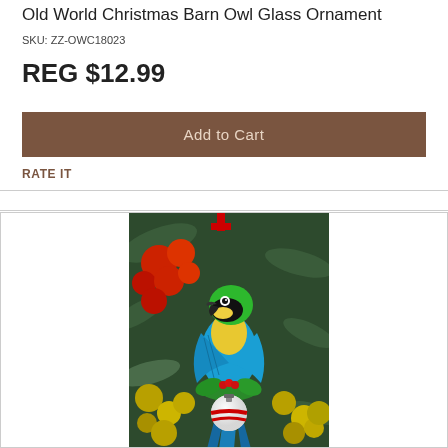Old World Christmas Barn Owl Glass Ornament
SKU: ZZ-OWC18023
REG $12.99
Add to Cart
RATE IT
[Figure (photo): A blue and gold macaw parrot Christmas ornament perched on a holly branch holding a white and red ornament ball, set against a background of red and gold Christmas ornaments and pine branches.]